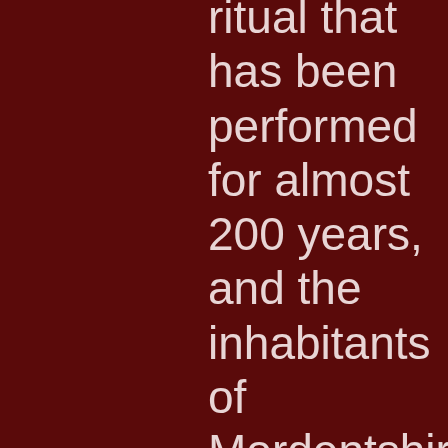ritual that has been performed for almost 200 years, and the inhabitants of Mordentshire are not about to